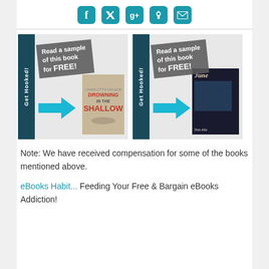[Figure (infographic): Row of five social media icons (Facebook, Twitter, Google+, Pinterest, Email) in teal rounded squares]
[Figure (infographic): Two book promotion banners side by side. Left banner: 'Get Hooked!' teal vertical bar, gray diagonal label 'Read a sample of this book for FREE!', teal arrow pointing right, book cover 'Drowning in the Shallow End'. Right banner: same layout with 'Get Hooked!' bar, same label, teal arrow, book cover 'June' by Dan Abe.]
Note: We have received compensation for some of the books mentioned above.
eBooks Habit... Feeding Your Free & Bargain eBooks Addiction!